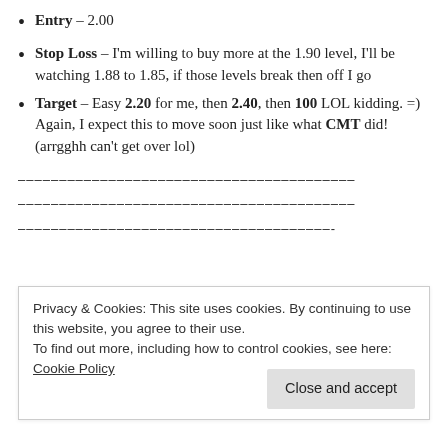Entry – 2.00
Stop Loss – I'm willing to buy more at the 1.90 level, I'll be watching 1.88 to 1.85, if those levels break then off I go
Target – Easy 2.20 for me, then 2.40, then 100 LOL kidding. =) Again, I expect this to move soon just like what CMT did! (arrgghh can't get over lol)
–––––––––––––––––––––––––––––––––––––––––––
Privacy & Cookies: This site uses cookies. By continuing to use this website, you agree to their use. To find out more, including how to control cookies, see here: Cookie Policy